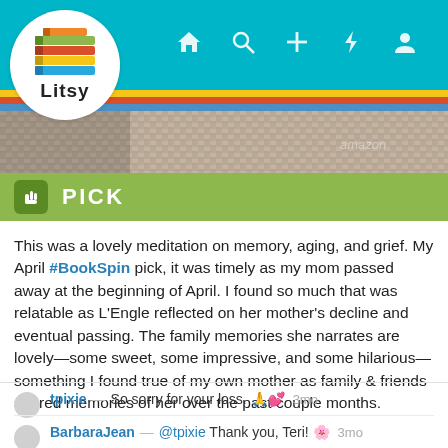[Figure (screenshot): Litsy app logo — stack of colorful books above the word Litsy, inside a white circle]
Litsy app navigation bar with home, search, add, notification, and profile icons
PICK
This was a lovely meditation on memory, aging, and grief. My April #BookSpin pick, it was timely as my mom passed away at the beginning of April. I found so much that was relatable as L'Engle reflected on her mother's decline and eventual passing. The family memories she narrates are lovely—some sweet, some impressive, and some hilarious—something I found true of my own mother as family & friends shared memories of her over the past couple months.
tpixie — So sorry for your loss. 🙏💕  3mo
BarbaraJean — @tpixie Thank you, Teri! 🌸  3mo